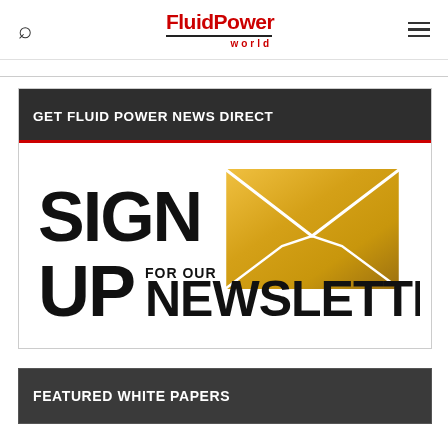FluidPower world
[Figure (illustration): Newsletter signup graphic showing bold text SIGN UP FOR OUR NEWSLETTER with a golden envelope icon]
GET FLUID POWER NEWS DIRECT
FEATURED WHITE PAPERS